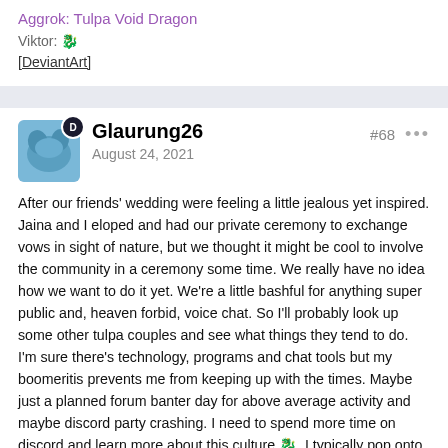Aggrok: Tulpa Void Dragon
Viktor: 🐉
[DeviantArt]
Glaurung26
August 24, 2021
#68
After our friends' wedding were feeling a little jealous yet inspired. Jaina and I eloped and had our private ceremony to exchange vows in sight of nature, but we thought it might be cool to involve the community in a ceremony some time. We really have no idea how we want to do it yet. We're a little bashful for anything super public and, heaven forbid, voice chat. So I'll probably look up some other tulpa couples and see what things they tend to do. I'm sure there's technology, programs and chat tools but my boomeritis prevents me from keeping up with the times. Maybe just a planned forum banter day for above average activity and maybe discord party crashing. I need to spend more time on discord and learn more about this culture 🐉. I typically pop onto to discord servers to ask questions then just bugger off. I